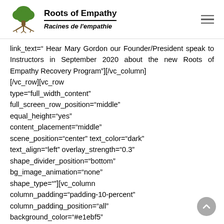Roots of Empathy / Racines de l'empathie
link_text="Hear Mary Gordon our Founder/President speak to Instructors in September 2020 about the new Roots of Empathy Recovery Program"][/vc_column][/vc_row][vc_row type="full_width_content" full_screen_row_position="middle" equal_height="yes" content_placement="middle" scene_position="center" text_color="dark" text_align="left" overlay_strength="0.3" shape_divider_position="bottom" bg_image_animation="none" shape_type=""][vc_column column_padding="padding-10-percent" column_padding_position="all" background_color="#e1ebf5" background_color_opacity="0.8" background_hover_color_opacity="1"